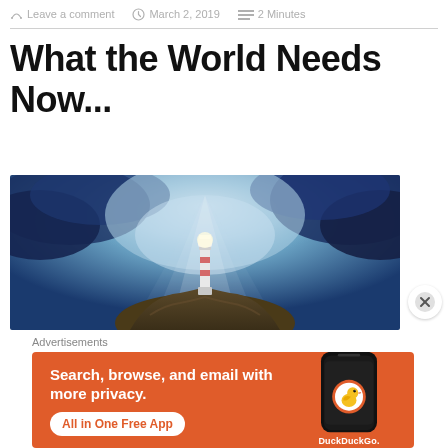Leave a comment   March 2, 2019   2 Minutes
What the World Needs Now...
[Figure (photo): A lighthouse standing on rocky terrain with dramatic stormy blue-white cloudy sky in the background, light rays emanating from above]
Advertisements
[Figure (other): DuckDuckGo advertisement: orange background with text 'Search, browse, and email with more privacy. All in One Free App' and a DuckDuckGo logo on a smartphone mockup]